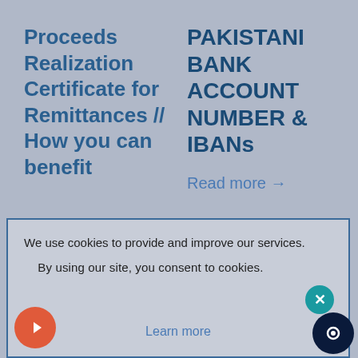Proceeds Realization Certificate for Remittances // How you can benefit
PAKISTANI BANK ACCOUNT NUMBER & IBANs
Read more →
We use cookies to provide and improve our services. By using our site, you consent to cookies.
Learn more